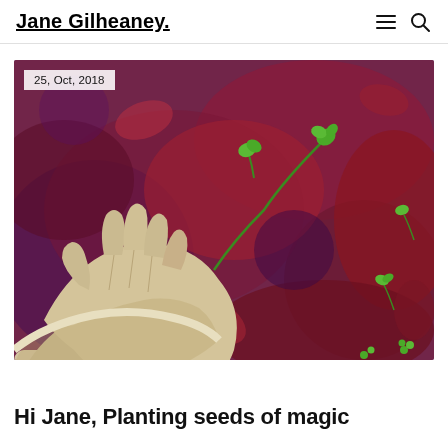Jane Gilheaney
[Figure (photo): A gloved hand reaching into a ground covered with purple and dark red autumn leaves, with small green seedlings emerging. Date overlay reads '25, Oct, 2018'.]
Hi Jane, Planting seeds of magic